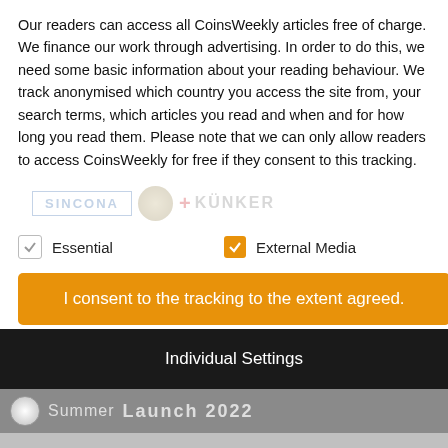Our readers can access all CoinsWeekly articles free of charge. We finance our work through advertising. In order to do this, we need some basic information about your reading behaviour. We track anonymised which country you access the site from, your search terms, which articles you read and when and for how long you read them. Please note that we can only allow readers to access CoinsWeekly for free if they consent to this tracking.
[Figure (screenshot): Cookie consent dialog with Essential and External Media checkboxes, orange consent button, and dark Individual Settings button, overlaid on a CoinsWeekly webpage showing Sincona and Künker logos and a Raven Witch article.]